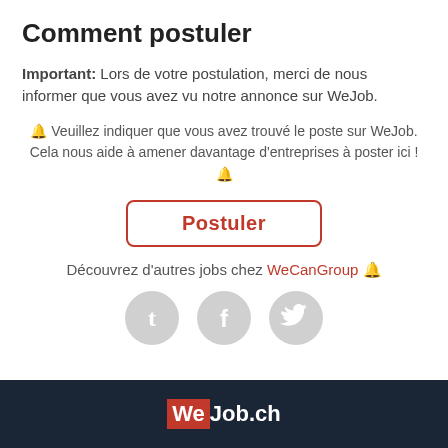Comment postuler
Important: Lors de votre postulation, merci de nous informer que vous avez vu notre annonce sur WeJob.
🔔 Veuillez indiquer que vous avez trouvé le poste sur WeJob. Cela nous aide à amener davantage d'entreprises à poster ici ! 🔔
[Figure (other): Red-bordered rounded button with bold red text 'Postuler']
Découvrez d'autres jobs chez WeCanGroup 🔔
[Figure (other): Three grey circular social media icons: Tumblr, Facebook, Twitter]
WeJob.ch